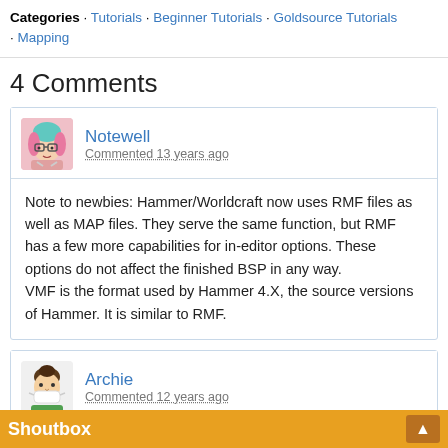Categories · Tutorials · Beginner Tutorials · Goldsource Tutorials · Mapping
4 Comments
[Figure (illustration): Avatar of user Notewell - cartoon character with pink/teal hair and glasses]
Notewell
Commented 13 years ago
Note to newbies: Hammer/Worldcraft now uses RMF files as well as MAP files. They serve the same function, but RMF has a few more capabilities for in-editor options. These options do not affect the finished BSP in any way. VMF is the format used by Hammer 4.X, the source versions of Hammer. It is similar to RMF.
[Figure (illustration): Avatar of user Archie - cartoon character wearing a mask and green shirt]
Archie
Commented 12 years ago
good append, JeffMOD :]
Shoutbox